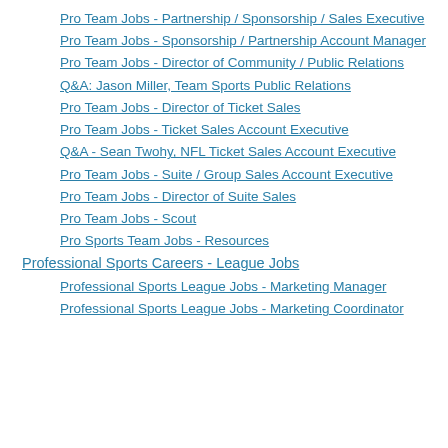Pro Team Jobs - Partnership / Sponsorship / Sales Executive
Pro Team Jobs - Sponsorship / Partnership Account Manager
Pro Team Jobs - Director of Community / Public Relations
Q&A: Jason Miller, Team Sports Public Relations
Pro Team Jobs - Director of Ticket Sales
Pro Team Jobs - Ticket Sales Account Executive
Q&A - Sean Twohy, NFL Ticket Sales Account Executive
Pro Team Jobs - Suite / Group Sales Account Executive
Pro Team Jobs - Director of Suite Sales
Pro Team Jobs - Scout
Pro Sports Team Jobs - Resources
Professional Sports Careers - League Jobs
Professional Sports League Jobs - Marketing Manager
Professional Sports League Jobs - Marketing Coordinator